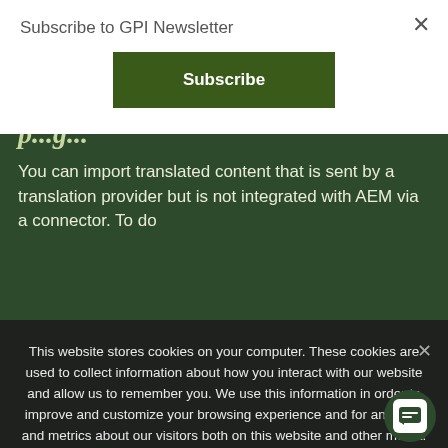Subscribe to GPI Newsletter
Subscribe
You can import translated content that is sent by a translation provider but is not integrated with AEM via a connector. To do
This website stores cookies on your computer. These cookies are used to collect information about how you interact with our website and allow us to remember you. We use this information in order to improve and customize your browsing experience and for analytics and metrics about our visitors both on this website and other media. To find out more about the cookies we use, see our Privacy Policy. If you decline, your information won't be tracked when you visit this website. A single cookie will be used in your browser to remember your preference not to be tracked.
Accept
Decline
Privacy policy
In summ... this blog post describes for importing... foreign language content